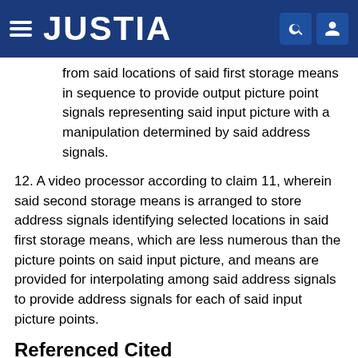JUSTIA
from said locations of said first storage means in sequence to provide output picture point signals representing said input picture with a manipulation determined by said address signals.
12. A video processor according to claim 11, wherein said second storage means is arranged to store address signals identifying selected locations in said first storage means, which are less numerous than the picture points on said input picture, and means are provided for interpolating among said address signals to provide address signals for each of said input picture points.
Referenced Cited
U.S. Patent Documents